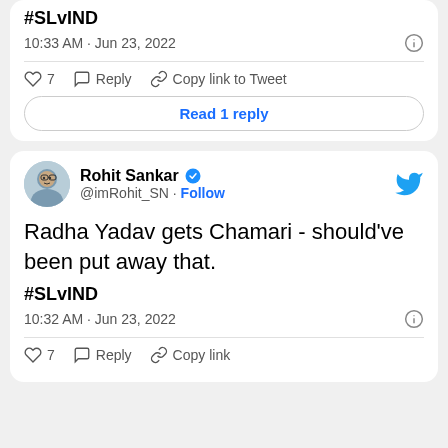#SLvIND
10:33 AM · Jun 23, 2022
7  Reply  Copy link to Tweet
Read 1 reply
Rohit Sankar @imRohit_SN · Follow
Radha Yadav gets Chamari - should've been put away that.
#SLvIND
10:32 AM · Jun 23, 2022
7  Reply  Copy link